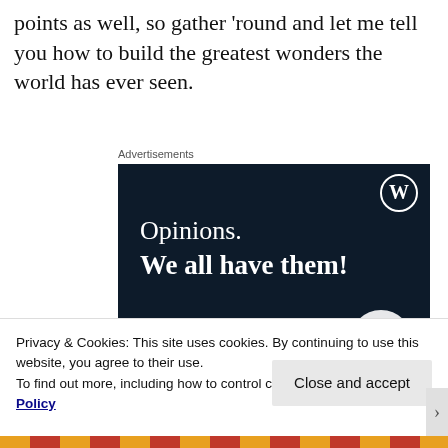points as well, so gather 'round and let me tell you how to build the greatest wonders the world has ever seen.
Advertisements
[Figure (illustration): WordPress advertisement banner with dark navy background. WordPress logo (W in circle) top right. Text reads 'Opinions. We all have them!' in white. Pink button at bottom left, white circle at bottom right.]
Privacy & Cookies: This site uses cookies. By continuing to use this website, you agree to their use.
To find out more, including how to control cookies, see here: Cookie Policy
Close and accept